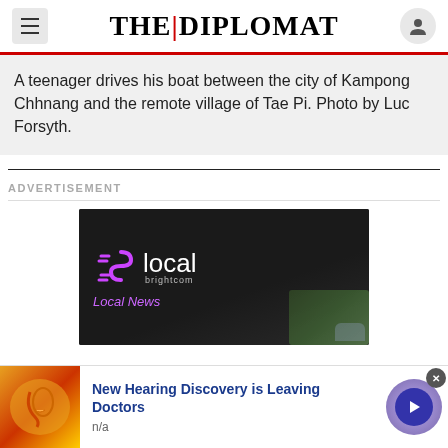THE | DIPLOMAT
A teenager drives his boat between the city of Kampong Chhnang and the remote village of Tae Pi. Photo by Luc Forsyth.
ADVERTISEMENT
[Figure (logo): Brightcom 'Blocal' advertisement banner with purple neon logo on dark background, showing 'local' text and 'brightcom' subtext, with 'Local News' text at bottom]
[Figure (infographic): Bottom advertisement strip: anatomical ear image on left, 'New Hearing Discovery is Leaving Doctors' title in blue bold text, 'n/a' subtext, purple circular arrow button on right, close X button top right]